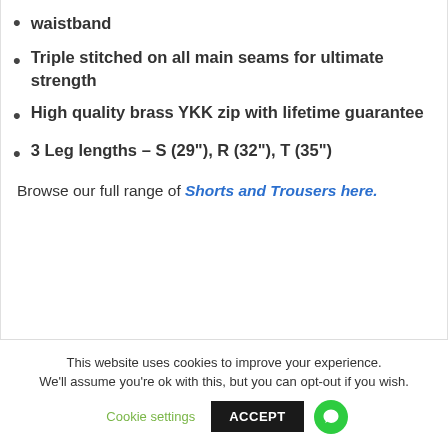waistband
Triple stitched on all main seams for ultimate strength
High quality brass YKK zip with lifetime guarantee
3 Leg lengths – S (29"), R (32"), T (35")
Browse our full range of Shorts and Trousers here.
This website uses cookies to improve your experience. We'll assume you're ok with this, but you can opt-out if you wish. Cookie settings ACCEPT